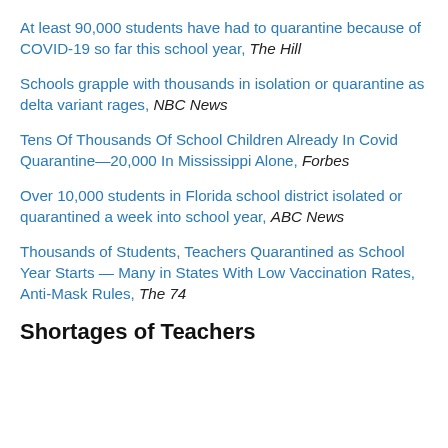At least 90,000 students have had to quarantine because of COVID-19 so far this school year, The Hill
Schools grapple with thousands in isolation or quarantine as delta variant rages, NBC News
Tens Of Thousands Of School Children Already In Covid Quarantine—20,000 In Mississippi Alone, Forbes
Over 10,000 students in Florida school district isolated or quarantined a week into school year, ABC News
Thousands of Students, Teachers Quarantined as School Year Starts — Many in States With Low Vaccination Rates, Anti-Mask Rules, The 74
Shortages of Teachers